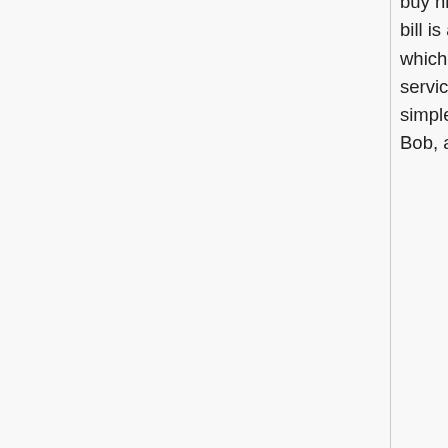buy his Alpaca socks. In return, she wants to send him a dollar. A dollar bill is a piece of paper which is very easy to create (by those who can), but which is accepted by people in exchange for valuable products and services in the real world, such as the socks Alice wants to buy. One simple thing Alice can do is to put a dollar bill in an envelope, mail it to Bob, and then wait for Bob to send the socks to her.
Another thing Alice can do is to "wire" the money to Bob. She can do that by first giving her dollar bills to an institution called a bank, the job of which is to safe-keep Alice's dollar bills and, in return, to give Alice a written promise (called a "bank statement") that, whenever she wishes, she can come to the bank to take back the same number of dollar bills